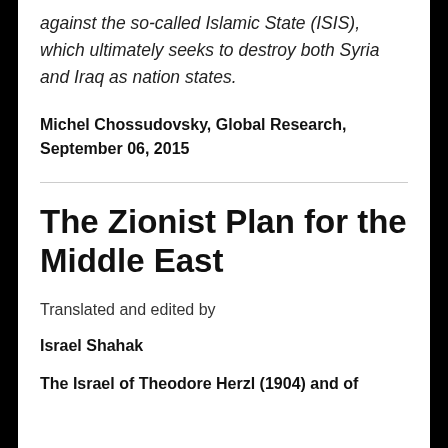against the so-called Islamic State (ISIS), which ultimately seeks to destroy both Syria and Iraq as nation states.
Michel Chossudovsky, Global Research, September 06, 2015
The Zionist Plan for the Middle East
Translated and edited by
Israel Shahak
The Israel of Theodore Herzl (1904) and of